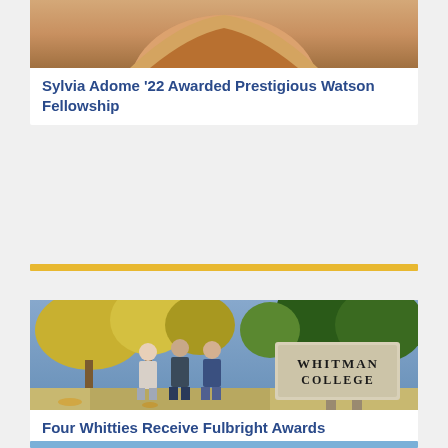[Figure (photo): Partial photo of a person wearing a tan/beige jacket over a magenta top, cropped to show upper body]
Sylvia Adome '22 Awarded Prestigious Watson Fellowship
[Figure (photo): Students walking in front of a Whitman College entrance sign surrounded by autumn trees with yellow and green foliage]
Four Whitties Receive Fulbright Awards